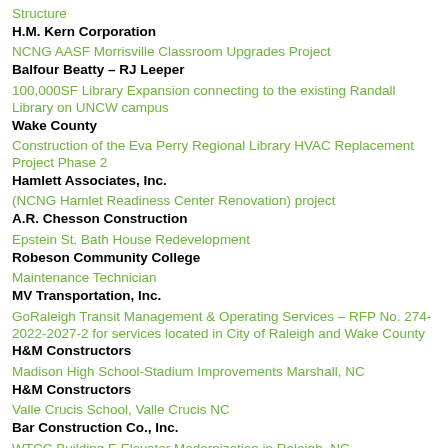Structure
H.M. Kern Corporation
NCNG AASF Morrisville Classroom Upgrades Project
Balfour Beatty – RJ Leeper
100,000SF Library Expansion connecting to the existing Randall Library on UNCW campus
Wake County
Construction of the Eva Perry Regional Library HVAC Replacement Project Phase 2
Hamlett Associates, Inc.
(NCNG Hamlet Readiness Center Renovation) project
A.R. Chesson Construction
Epstein St. Bath House Redevelopment
Robeson Community College
Maintenance Technician
MV Transportation, Inc.
GoRaleigh Transit Management & Operating Services – RFP No. 274-2022-2027-2 for services located in City of Raleigh and Wake County
H&M Constructors
Madison High School-Stadium Improvements Marshall, NC
H&M Constructors
Valle Crucis School, Valle Crucis NC
Bar Construction Co., Inc.
WTCC Building E Elevator Modernization in Raleigh, NC
NC Dept. of Information Technology
Department of Information Technology Downtown Man